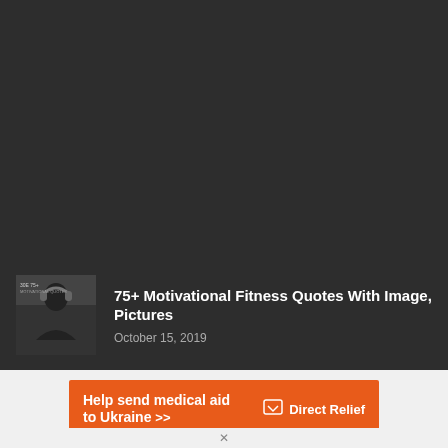[Figure (photo): Dark background area with fitness-related content card at bottom showing a muscular man with headphones thumbnail]
75+ Motivational Fitness Quotes With Image, Pictures
October 15, 2019
[Figure (infographic): Orange advertisement banner: Help send medical aid to Ukraine >> with Direct Relief logo]